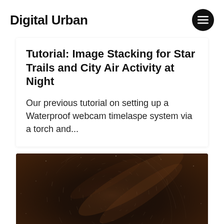Digital Urban
Tutorial: Image Stacking for Star Trails and City Air Activity at Night
Our previous tutorial on setting up a Waterproof webcam timelaspe system via a torch and...
[Figure (photo): Star trails photo showing circular star streaks against a dark reddish-brown night sky background, long exposure photography]